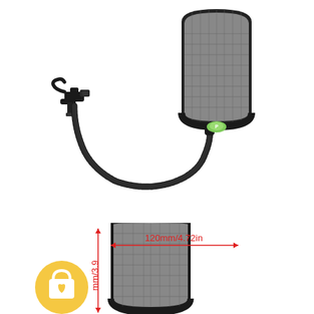[Figure (photo): Product photo of a microphone pop filter/windscreen with a flexible gooseneck arm and clamp mount. The filter head is a curved mesh screen with a green indicator button, connected via a braided black gooseneck to a clamp-style desk mount. Background is white.]
[Figure (photo): Close-up product photo of the curved mesh pop filter head showing dimensions: 120mm/4.72in width indicated by a red horizontal arrow, and 3.9 (partial, cut off) height indicated by a red vertical arrow. A yellow circle icon with a shopping bag and heart is overlaid in the bottom-left area.]